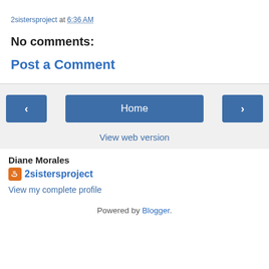2sistersproject at 6:36 AM
No comments:
Post a Comment
‹  Home  ›  View web version
Diane Morales
2sistersproject
View my complete profile
Powered by Blogger.